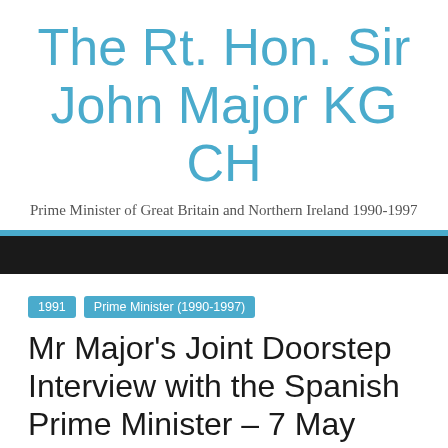The Rt. Hon. Sir John Major KG CH
Prime Minister of Great Britain and Northern Ireland 1990-1997
1991   Prime Minister (1990-1997)
Mr Major's Joint Doorstep Interview with the Spanish Prime Minister – 7 May 1991